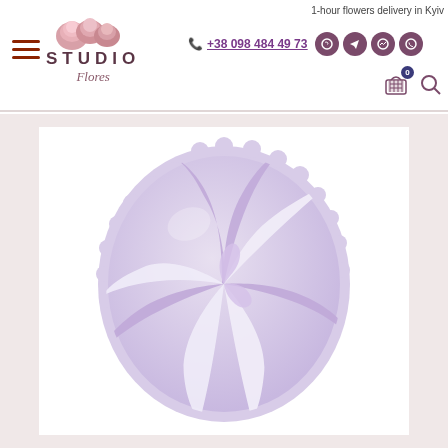Studio Flores — 1-hour flowers delivery in Kyiv
+38 098 484 49 73
[Figure (photo): Round foil balloon with lavender and white pinwheel/candy swirl pattern on a white background]